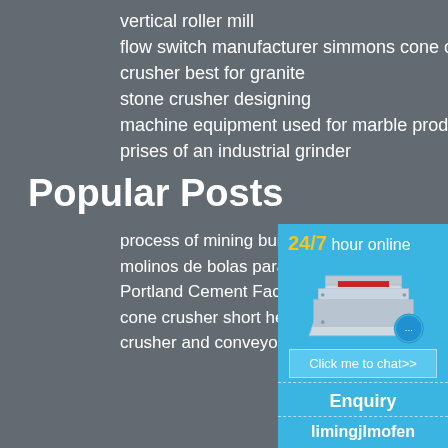vertical roller mill
flow switch manufacturer simmons cone crusher
crusher best for granite
stone crusher designing
machine equipment used for marble production
prises of an industrial grinder
Popular Posts
process of mining building
molinos de bolas para mineria oro c
Portland Cement Factory
cone crusher short head 1 14
crusher and conveyors
[Figure (infographic): Blue chat widget with '24/7 hour online', industrial crusher machine image, chat bubble icon with ellipsis, 'Click me to chat>>' button, 'Enquiry' text, and 'limingjlmofen' text at bottom]